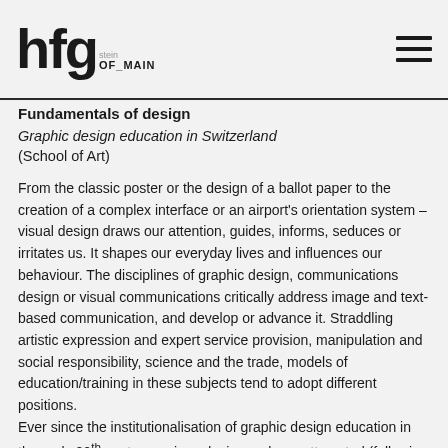hfg OF_MAIN
Fundamentals of design
Graphic design education in Switzerland
(School of Art)
From the classic poster or the design of a ballot paper to the creation of a complex interface or an airport's orientation system – visual design draws our attention, guides, informs, seduces or irritates us. It shapes our everyday lives and influences our behaviour. The disciplines of graphic design, communications design or visual communications critically address image and text-based communication, and develop or advance it. Straddling artistic expression and expert service provision, manipulation and social responsibility, science and the trade, models of education/training in these subjects tend to adopt different positions.
Ever since the institutionalisation of graphic design education in the early 20th century various designers have attempted (following the model of a written language) to compose a theory, binding rules and indeed even a grammar for visual communications. However, to date none of these attempts have